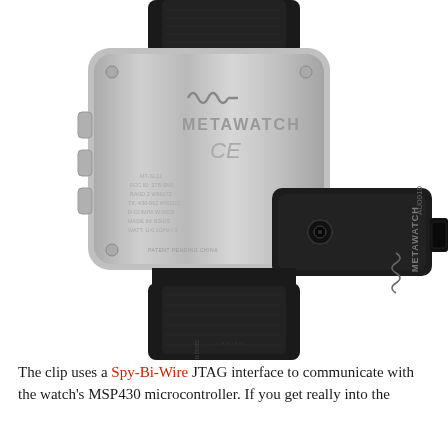[Figure (photo): Photograph of the back of a MetaWatch smartwatch with a black JTAG debugging clip (labeled MetaWatch AU0010) attached to the side of the watch case. The watch has a silver brushed metal back with MetaWatch branding and CE marking. A black leather watch strap is visible.]
The clip uses a Spy-Bi-Wire JTAG interface to communicate with the watch's MSP430 microcontroller. If you get really into the